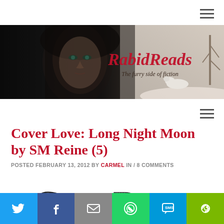[Figure (screenshot): Hamburger menu icon top right corner]
[Figure (photo): RabidReads blog banner: dark moody portrait of woman on left half, wintry snowy scene with animal on right half. Cursive red text 'RabidReads' and subtitle 'The furry side of fiction' overlaid on right portion.]
[Figure (screenshot): Second hamburger menu icon below banner]
Cover Love: Long Night Moon by SM Reine (5)
POSTED FEBRUARY 13, 2012 BY CARMEL IN / 8 COMMENTS
[Figure (illustration): Partial decorative 'COVER' text graphic in mixed patterned/striped lettering styles, partially visible at bottom of page]
[Figure (infographic): Social sharing toolbar at bottom: Twitter (blue), Facebook (dark blue), Email (grey), WhatsApp (green), SMS (light blue), More (yellow-green)]